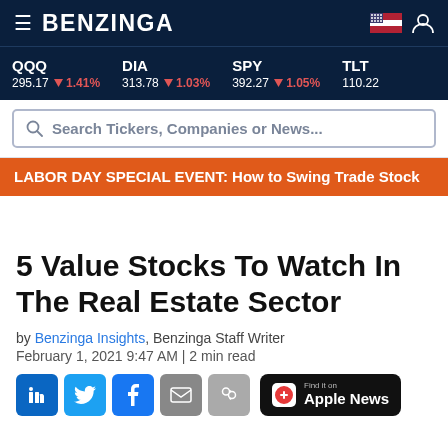BENZINGA
QQQ 295.17 ▼1.41%  DIA 313.78 ▼1.03%  SPY 392.27 ▼1.05%  TLT 110.22
Search Tickers, Companies or News...
LABOR DAY SPECIAL EVENT: How to Swing Trade Stock
5 Value Stocks To Watch In The Real Estate Sector
by Benzinga Insights, Benzinga Staff Writer
February 1, 2021 9:47 AM | 2 min read